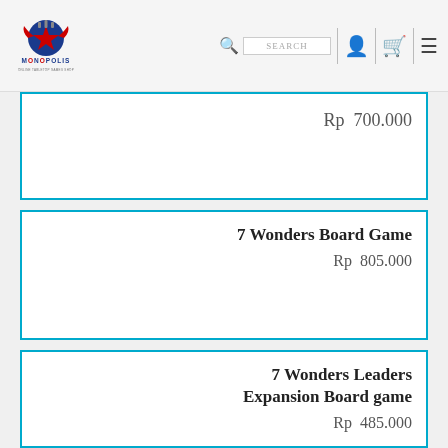MONOPOLIS - ONLINE TABLETOP GAMES SHOP
Rp  700.000
7 Wonders Board Game
Rp  805.000
7 Wonders Leaders Expansion Board game
Rp  485.000